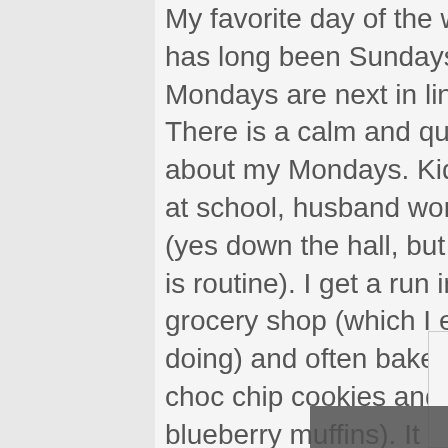My favorite day of the week has long been Sundays. But, Mondays are next in line. There is a calm and quiet about my Mondays. Kids are at school, husband working (yes down the hall, but still, it is routine). I get a run in, grocery shop (which I enjoy doing) and often bake (today choc chip cookies and blueberry muffins). It is also a stay home evening as there are no sports on Mondays. I want to approach the other days of the week with a look forward to
Share This